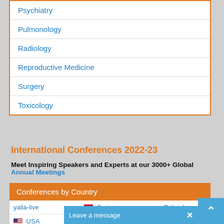Psychiatry
Pulmonology
Radiology
Reproductive Medicine
Surgery
Toxicology
International Conferences 2022-23
Meet Inspiring Speakers and Experts at our 3000+ Global Annual Meetings
| Conferences by Country |
| --- |
| yalla-live | Spain | Poland |
| USA | Canada | Austria |
| Australia | China |  |